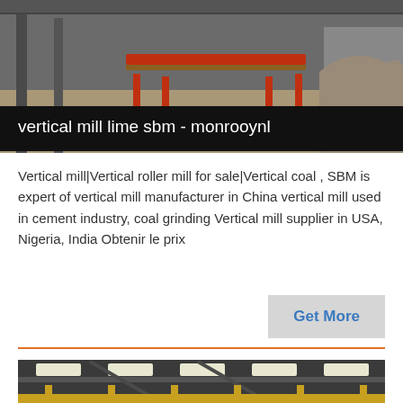[Figure (photo): Industrial facility interior showing heavy equipment, a red-framed conveyor or sorting table on a concrete floor, with SBM logo visible in the bottom right corner of the photo.]
vertical mill lime sbm - monrooynl
Vertical mill|Vertical roller mill for sale|Vertical coal , SBM is expert of vertical mill manufacturer in China vertical mill used in cement industry, coal grinding Vertical mill supplier in USA, Nigeria, India Obtenir le prix
Get More
[Figure (photo): Large industrial warehouse or factory interior with high ceiling, fluorescent strip lighting, steel roof trusses, and yellow industrial railing/platform structure visible at the bottom.]